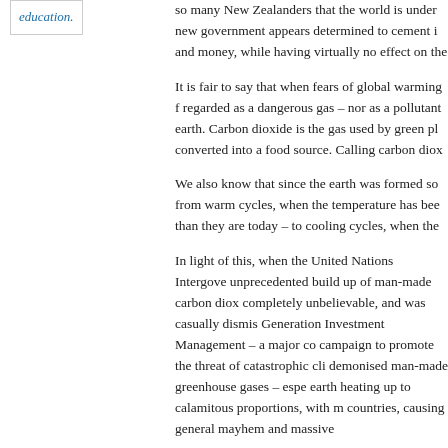education.
so many New Zealanders that the world is under... new government appears determined to cement i... and money, while having virtually no effect on the...
It is fair to say that when fears of global warming f... regarded as a dangerous gas – nor as a pollutant... earth. Carbon dioxide is the gas used by green pl... converted into a food source. Calling carbon diox...
We also know that since the earth was formed so... from warm cycles, when the temperature has bee... than they are today – to cooling cycles, when the...
In light of this, when the United Nations Intergove... unprecedented build up of man-made carbon diox... completely unbelievable, and was casually dismis... Generation Investment Management – a major co... campaign to promote the threat of catastrophic cli... demonised man-made greenhouse gases – espe... earth heating up to calamitous proportions, with m... countries, causing general mayhem and massive...
The movie created global alarm, exacerbated by e... the findings on which Al Gore's movie was based.... than fact and more a drama than documentary), a...
With such unstoppable momentum, politicians ea...